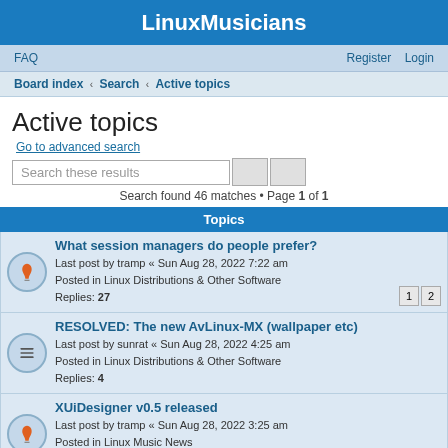LinuxMusicians
FAQ   Register   Login
Board index < Search < Active topics
Active topics
Go to advanced search
Search these results
Search found 46 matches • Page 1 of 1
Topics
What session managers do people prefer?
Last post by tramp « Sun Aug 28, 2022 7:22 am
Posted in Linux Distributions & Other Software
Replies: 27
RESOLVED: The new AvLinux-MX (wallpaper etc)
Last post by sunrat « Sun Aug 28, 2022 4:25 am
Posted in Linux Distributions & Other Software
Replies: 4
XUiDesigner v0.5 released
Last post by tramp « Sun Aug 28, 2022 3:25 am
Posted in Linux Music News
Replies: 79